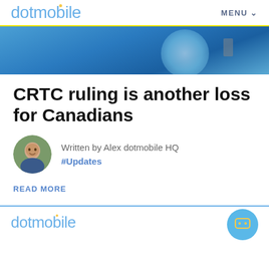dotmobile   MENU
[Figure (photo): Blue sky hero image with a balloon or object visible against sky background]
CRTC ruling is another loss for Canadians
Written by Alex dotmobile HQ
#Updates
READ MORE
dotmobile